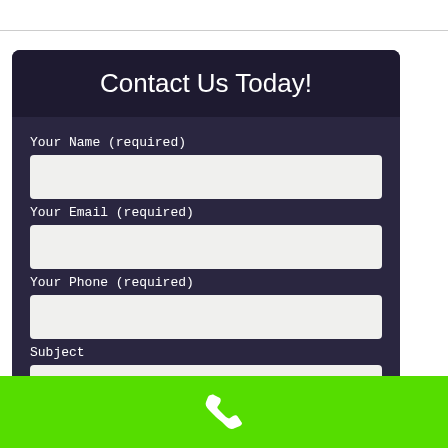Contact Us Today!
Your Name (required)
Your Email (required)
Your Phone (required)
Subject
[Figure (infographic): Green bar at the bottom with a white phone icon in the center]